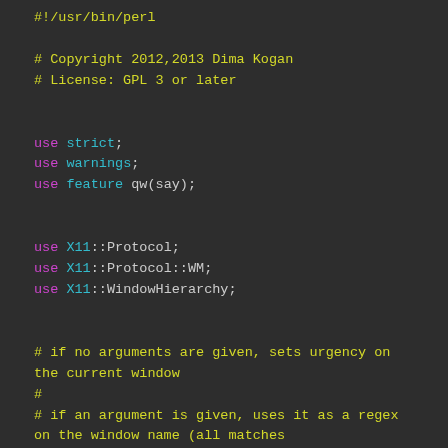#!/usr/bin/perl

# Copyright 2012,2013 Dima Kogan
# License: GPL 3 or later


use strict;
use warnings;
use feature qw(say);


use X11::Protocol;
use X11::Protocol::WM;
use X11::WindowHierarchy;


# if no arguments are given, sets urgency on the current window
#
# if an argument is given, uses it as a regex on the window name (all matches